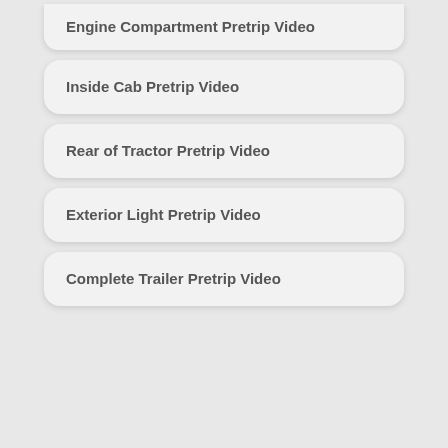Engine Compartment Pretrip Video
Inside Cab Pretrip Video
Rear of Tractor Pretrip Video
Exterior Light Pretrip Video
Complete Trailer Pretrip Video